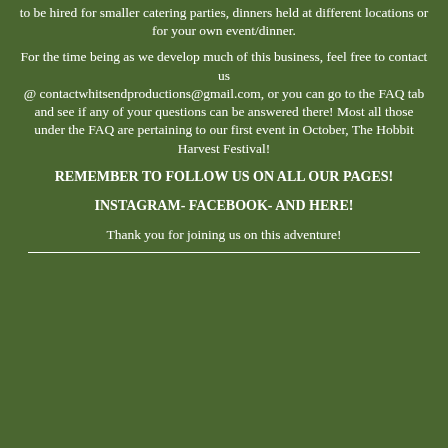to be hired for smaller catering parties, dinners held at different locations or for your own event/dinner.
For the time being as we develop much of this business, feel free to contact us @ contactwhitsendproductions@gmail.com, or you can go to the FAQ tab and see if any of your questions can be answered there! Most all those under the FAQ are pertaining to our first event in October, The Hobbit Harvest Festival!
REMEMBER TO FOLLOW US ON ALL OUR PAGES!
INSTAGRAM- FACEBOOK- AND HERE!
Thank you for joining us on this adventure!